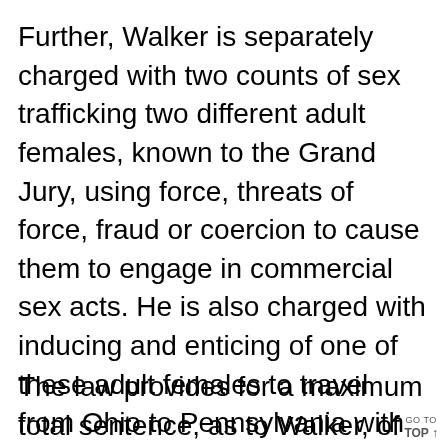Further, Walker is separately charged with two counts of sex trafficking two different adult females, known to the Grand Jury, using force, threats of force, fraud or coercion to cause them to engage in commercial sex acts. He is also charged with inducing and enticing of one of these adult females to travel from Ohio to Pennsylvania with the intent that the adult female engage in prostitution.
The law provides for a maximum total sentence, as to Walker, of not less th... 5